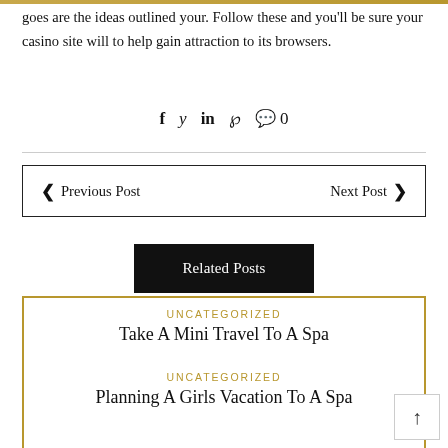goes are the ideas outlined your. Follow these and you'll be sure your casino site will to help gain attraction to its browsers.
f  y  in  ℘  💬 0
< Previous Post    Next Post >
Related Posts
UNCATEGORIZED
Take A Mini Travel To A Spa
UNCATEGORIZED
Planning A Girls Vacation To A Spa